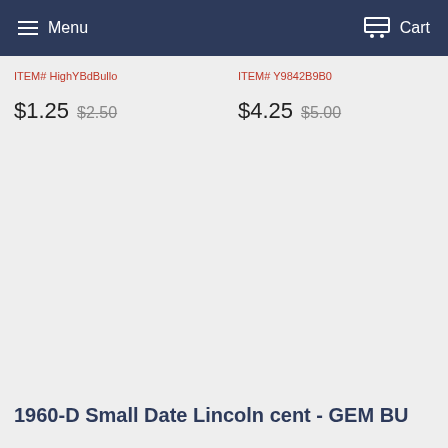Menu  Cart
ITEM# HighYBdBullo
ITEM# Y9842B9B0
$1.25  $2.50
$4.25  $5.00
1960-D Small Date Lincoln cent - GEM BU